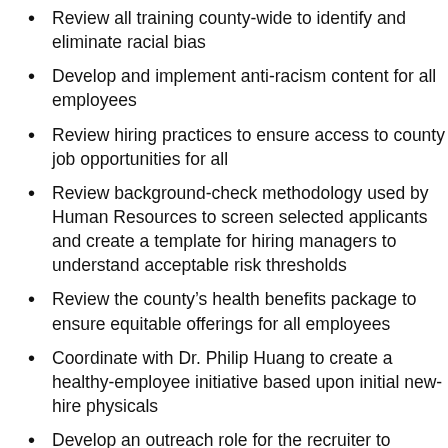Review all training county-wide to identify and eliminate racial bias
Develop and implement anti-racism content for all employees
Review hiring practices to ensure access to county job opportunities for all
Review background-check methodology used by Human Resources to screen selected applicants and create a template for hiring managers to understand acceptable risk thresholds
Review the county's health benefits package to ensure equitable offerings for all employees
Coordinate with Dr. Philip Huang to create a healthy-employee initiative based upon initial new-hire physicals
Develop an outreach role for the recruiter to